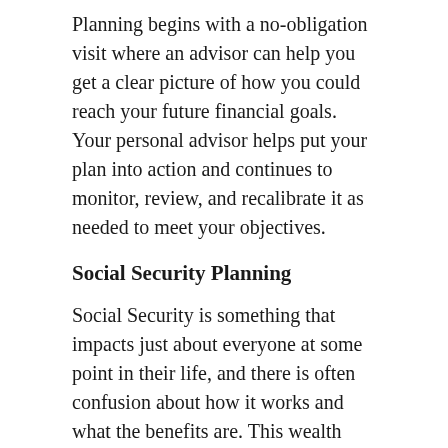Planning begins with a no-obligation visit where an advisor can help you get a clear picture of how you could reach your future financial goals. Your personal advisor helps put your plan into action and continues to monitor, review, and recalibrate it as needed to meet your objectives.
Social Security Planning
Social Security is something that impacts just about everyone at some point in their life, and there is often confusion about how it works and what the benefits are. This wealth management firm in Florida can help people sort through all of these questions and misconceptions and help them understand how to maximize their Social Security earnings.
According to Certified Financial Group, Social